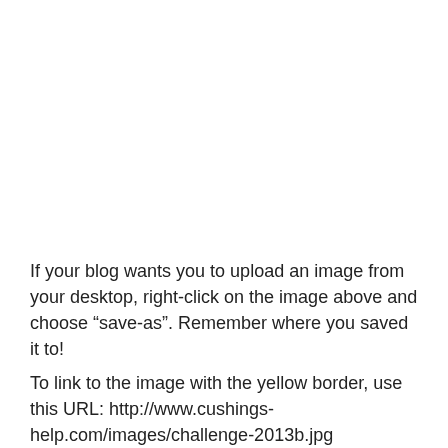If your blog wants you to upload an image from your desktop, right-click on the image above and choose “save-as”. Remember where you saved it to!
To link to the image with the yellow border, use this URL: http://www.cushings-help.com/images/challenge-2013b.jpg